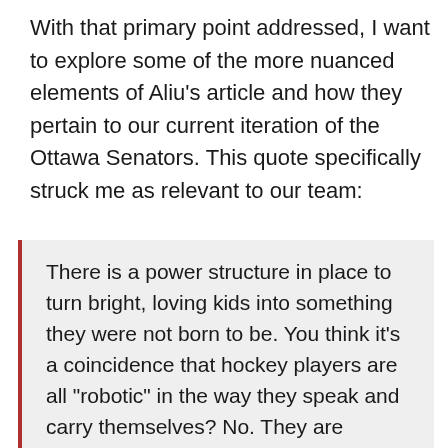With that primary point addressed, I want to explore some of the more nuanced elements of Aliu's article and how they pertain to our current iteration of the Ottawa Senators. This quote specifically struck me as relevant to our team:
There is a power structure in place to turn bright, loving kids into something they were not born to be. You think it’s a coincidence that hockey players are all “robotic” in the way they speak and carry themselves? No. They are products of a machine.
Now that’s the good stuff. To Aliu's point, a player who only knows how to say “get pucks to the net” won’t know how to answer questions about bigotry and hate in hockey. And while fully acknowledging my hometown bias and rose-coloured glasses, I get the impression